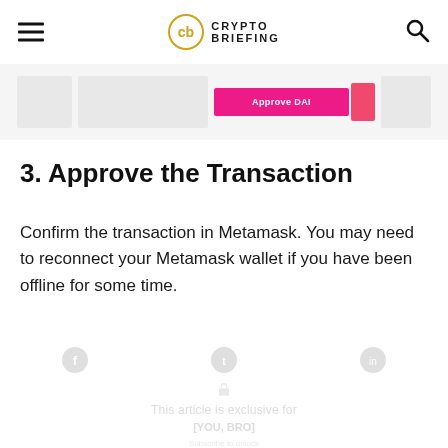CRYPTO BRIEFING
[Figure (screenshot): Screenshot section showing a pink 'Approve DAI' button on a light gray background]
3. Approve the Transaction
Confirm the transaction in Metamask. You may need to reconnect your Metamask wallet if you have been offline for some time.
[Figure (screenshot): Faded/blurred screenshot of a subscription prompt or content gate with social sharing icons and a lock icon]